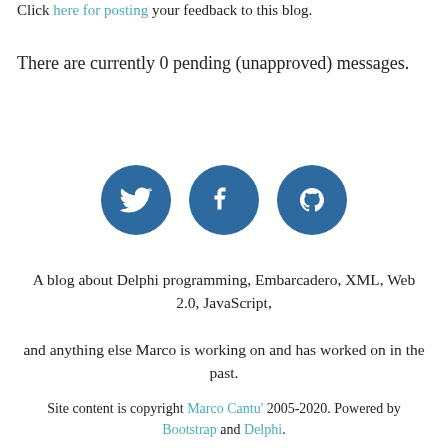Click here for posting your feedback to this blog.
There are currently 0 pending (unapproved) messages.
[Figure (illustration): Three circular social media icons (Twitter, Facebook, GitHub) with white icons on dark blue backgrounds]
A blog about Delphi programming, Embarcadero, XML, Web 2.0, JavaScript,
and anything else Marco is working on and has worked on in the past.
Site content is copyright Marco Cantu' 2005-2020. Powered by Bootstrap and Delphi.